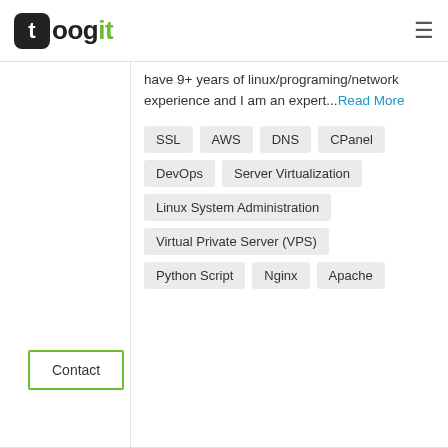toogit
have 9+ years of linux/programing/network experience and I am an expert...Read More
SSL
AWS
DNS
CPanel
DevOps
Server Virtualization
Linux System Administration
Virtual Private Server (VPS)
Python Script
Nginx
Apache
Contact